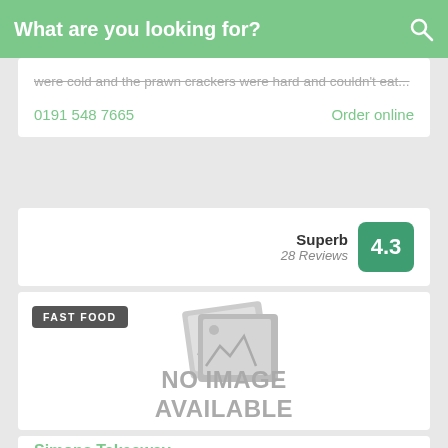What are you looking for?
were cold and the prawn crackers were hard and couldn't eat...
0191 548 7665
Order online
Superb 28 Reviews 4.3
[Figure (other): Fast food restaurant listing card with 'NO IMAGE AVAILABLE' placeholder and FAST FOOD badge]
Simons Takeaway